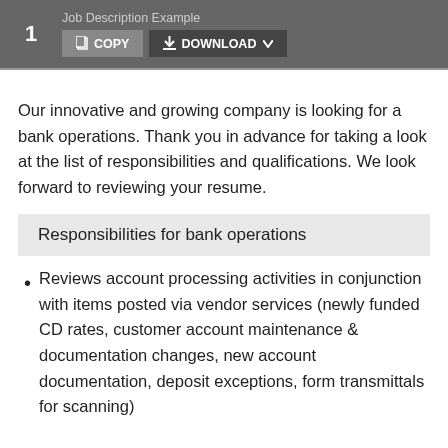1  Job Description Example  COPY  DOWNLOAD
Our innovative and growing company is looking for a bank operations. Thank you in advance for taking a look at the list of responsibilities and qualifications. We look forward to reviewing your resume.
Responsibilities for bank operations
Reviews account processing activities in conjunction with items posted via vendor services (newly funded CD rates, customer account maintenance & documentation changes, new account documentation, deposit exceptions, form transmittals for scanning)